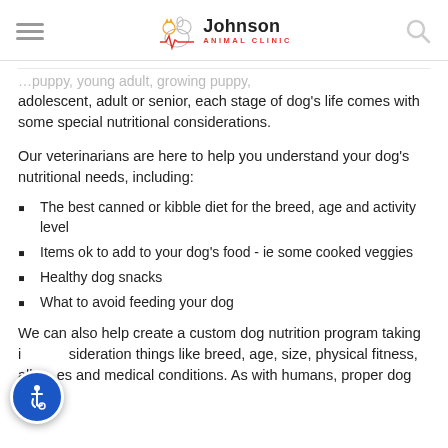Johnson Animal Clinic
adolescent, adult or senior, each stage of dog's life comes with some special nutritional considerations.
Our veterinarians are here to help you understand your dog's nutritional needs, including:
The best canned or kibble diet for the breed, age and activity level
Items ok to add to your dog's food - ie some cooked veggies
Healthy dog snacks
What to avoid feeding your dog
We can also help create a custom dog nutrition program taking into consideration things like breed, age, size, physical fitness, allergies and medical conditions. As with humans, proper dog